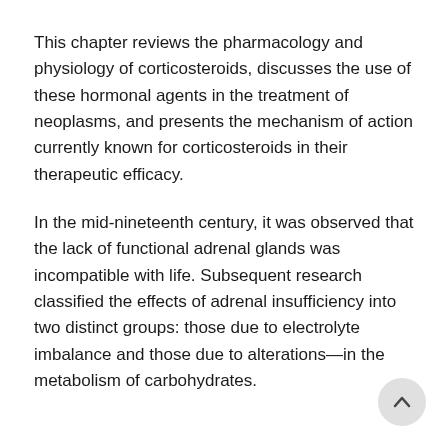This chapter reviews the pharmacology and physiology of corticosteroids, discusses the use of these hormonal agents in the treatment of neoplasms, and presents the mechanism of action currently known for corticosteroids in their therapeutic efficacy.
In the mid-nineteenth century, it was observed that the lack of functional adrenal glands was incompatible with life. Subsequent research classified the effects of adrenal insufficiency into two distinct groups: those due to electrolyte imbalance and those due to alterations—in the metabolism of carbohydrates.